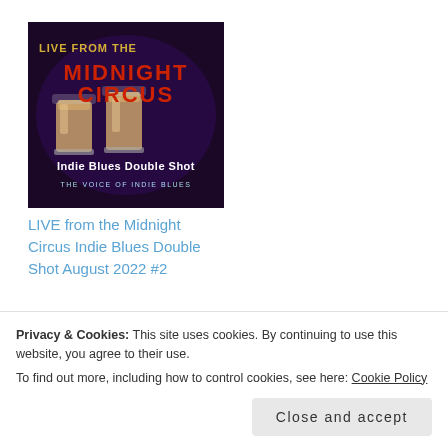[Figure (illustration): Album cover for LIVE from the Midnight Circus Indie Blues Double Shot, showing two shot glasses with coffee-colored liquid against a dark purple background with stylized text reading LIVE FROM THE MIDNIGHT CIRCUS and subtitle Indie Blues Double Shot, The Voice of Indie Blues]
LIVE from the Midnight Circus Indie Blues Double Shot August 2022 #2
[Figure (illustration): Circular avatar with light blue background showing a cartoon green monster face with yellow horns]
Richard L'Hommedieu
Privacy & Cookies: This site uses cookies. By continuing to use this website, you agree to their use.
To find out more, including how to control cookies, see here: Cookie Policy
Close and accept